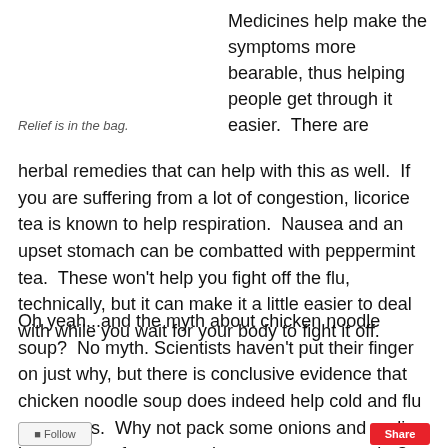Medicines help make the symptoms more bearable, thus helping people get through it easier.  There are herbal remedies that can help with this as well.  If you are suffering from a lot of congestion, licorice tea is known to help respiration.  Nausea and an upset stomach can be combatted with peppermint tea.  These won't help you fight off the flu, technically, but it can make it a little easier to deal with while you wait for your body to fight it off.
Relief is in the bag.
Oh yeah...and the myth about chicken noodle soup?  No myth.  Scientists haven't put their finger on just why, but there is conclusive evidence that chicken noodle soup does indeed help cold and flu symptoms.  Why not pack some onions and garlic in your soup for a super immune system combo?